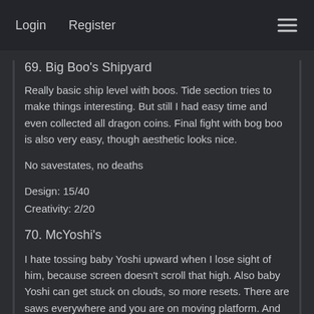Login   Register
69. Big Boo's Shipyard
Really basic ship level with boos. Tide section tries to make things interesting. But still I had easy time and even collected all dragon coins. Final fight with bog boo is also very easy, though aesthetic looks nice.
No savestates, no deaths
Design: 15/40
Creativity: 2/20
70. McYoshi's
I hate tossing baby Yoshi upward when I lose sight of him, because screen doesn't scroll that high. Also baby Yoshi can get stuck on clouds, so more resets. There are saws everywhere and you are on moving platform. And to get midpoint you need to be big or still have red shell in Yoshi's mouth. Maybe it's clever puzzle, but I didn't have to much